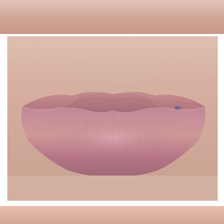[Figure (photo): Close-up photo of human lips (top strip, partially visible), showing skin texture above lips]
[Figure (photo): Close-up macro photograph of human lips, showing natural pink-mauve colored lips with fine skin texture and a small dark mark at the right corner of the mouth]
Permanent lips watercolor equipment before and after (53 photos)
[Figure (photo): Bottom strip of another photo, partially visible, showing skin tones]